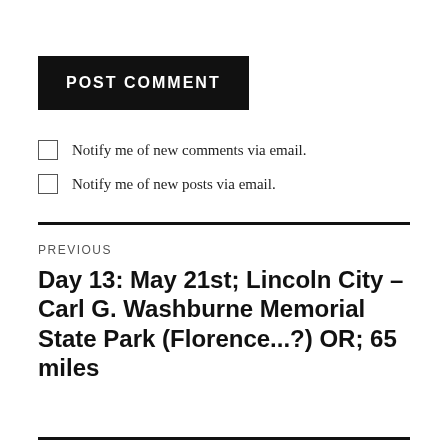POST COMMENT
Notify me of new comments via email.
Notify me of new posts via email.
PREVIOUS
Day 13: May 21st; Lincoln City – Carl G. Washburne Memorial State Park (Florence...?) OR; 65 miles